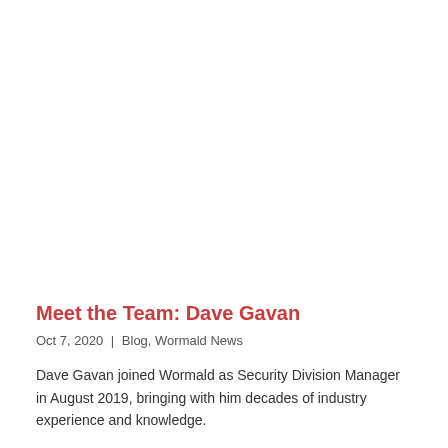Meet the Team: Dave Gavan
Oct 7, 2020 | Blog, Wormald News
Dave Gavan joined Wormald as Security Division Manager in August 2019, bringing with him decades of industry experience and knowledge.